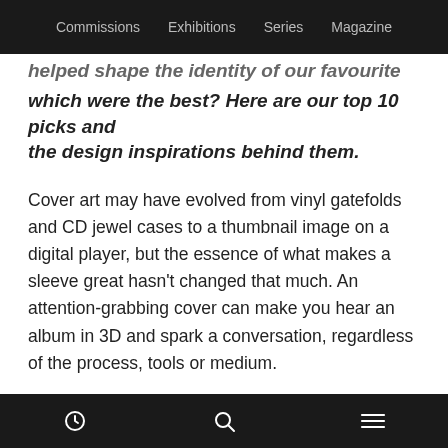Commissions  Exhibitions  Series  Magazine
…helped shape the identity of our favourite releases, but which were the best? Here are our top 10 picks and the design inspirations behind them.
Cover art may have evolved from vinyl gatefolds and CD jewel cases to a thumbnail image on a digital player, but the essence of what makes a sleeve great hasn't changed that much. An attention-grabbing cover can make you hear an album in 3D and spark a conversation, regardless of the process, tools or medium.
2016 has had no shortage of memorable sleeves, from the strikingly simple portrait of Solange adorning A Seat…